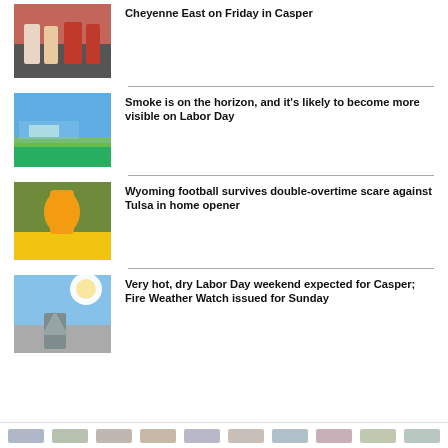[Figure (photo): Football players on a field, partial view]
Cheyenne East on Friday in Casper
[Figure (photo): Blue sky with trees and landscape, smoke on horizon]
Smoke is on the horizon, and it's likely to become more visible on Labor Day
[Figure (photo): Football player catching a ball, yellow jersey]
Wyoming football survives double-overtime scare against Tulsa in home opener
[Figure (photo): Sun in blue sky, person with hat from below]
Very hot, dry Labor Day weekend expected for Casper; Fire Weather Watch issued for Sunday
Sponsor logos row